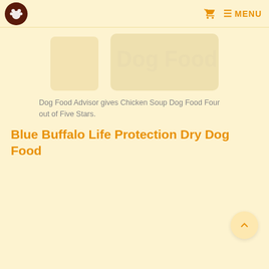Logo | Cart | MENU
[Figure (photo): Faded/watermark-style image of a dog food product in the background, very light and washed out in the page background color]
Dog Food Advisor gives Chicken Soup Dog Food Four out of Five Stars.
Blue Buffalo Life Protection Dry Dog Food